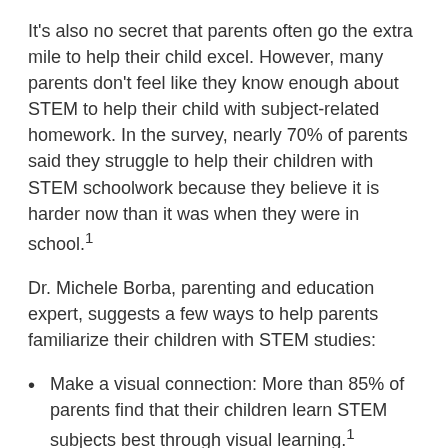It's also no secret that parents often go the extra mile to help their child excel. However, many parents don't feel like they know enough about STEM to help their child with subject-related homework. In the survey, nearly 70% of parents said they struggle to help their children with STEM schoolwork because they believe it is harder now than it was when they were in school.¹
Dr. Michele Borba, parenting and education expert, suggests a few ways to help parents familiarize their children with STEM studies:
Make a visual connection: More than 85% of parents find that their children learn STEM subjects best through visual learning.¹ Explore a variety of Post-it® Brand products designed to help students turn complex problems into solutions.
Turn it into a quiz: Use memory games, flashcards and written study guides to help students better learn and retain STEM knowledge.